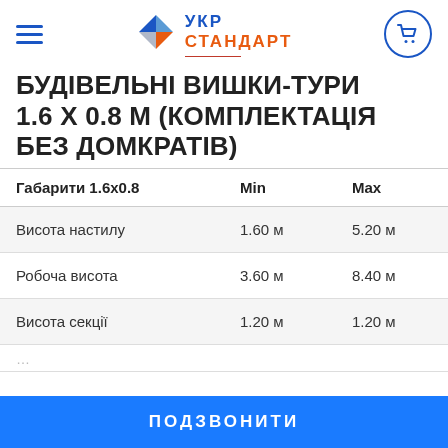УКР СТАНДАРТ
БУДІВЕЛЬНІ ВИШКИ-ТУРИ 1.6 Х 0.8 М (КОМПЛЕКТАЦІЯ БЕЗ ДОМКРАТІВ)
| Габарити 1.6х0.8 | Min | Max |
| --- | --- | --- |
| Висота настилу | 1.60 м | 5.20 м |
| Робоча висота | 3.60 м | 8.40 м |
| Висота секції | 1.20 м | 1.20 м |
ПОДЗВОНИТИ